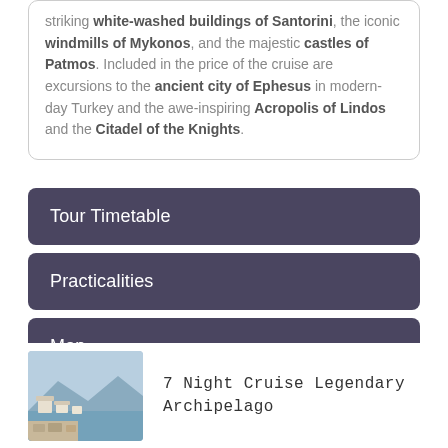striking white-washed buildings of Santorini, the iconic windmills of Mykonos, and the majestic castles of Patmos. Included in the price of the cruise are excursions to the ancient city of Ephesus in modern-day Turkey and the awe-inspiring Acropolis of Lindos and the Citadel of the Knights.
Tour Timetable
Practicalities
Map
Terms & Conditions
[Figure (photo): Coastal landscape photo showing ancient ruins and seaside buildings, likely a Greek island scene]
7 Night Cruise Legendary Archipelago